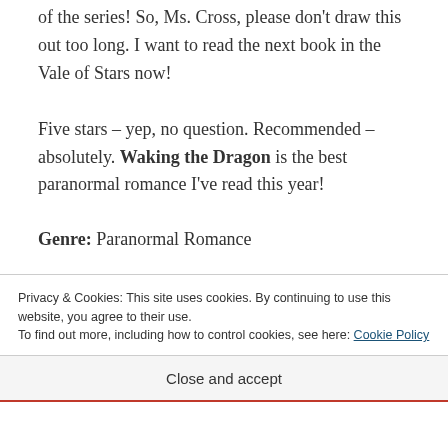of the series! So, Ms. Cross, please don't draw this out too long. I want to read the next book in the Vale of Stars now!
Five stars – yep, no question. Recommended – absolutely. Waking the Dragon is the best paranormal romance I've read this year!
Genre: Paranormal Romance
Privacy & Cookies: This site uses cookies. By continuing to use this website, you agree to their use.
To find out more, including how to control cookies, see here: Cookie Policy
Close and accept